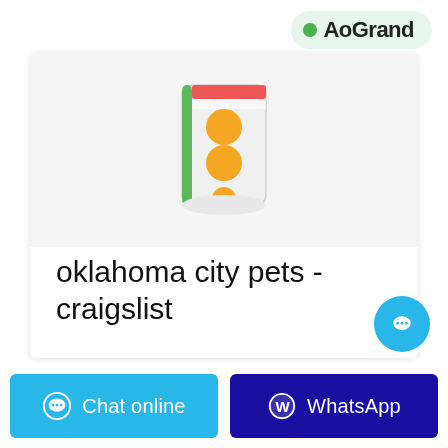[Figure (logo): AoGrand logo — green dot followed by bold text 'AoGrand' on a light green rounded pill background]
[Figure (photo): Product image of a package of disposable diapers or sanitary pads with orange circles on white packaging with green and red accents]
oklahoma city pets - craigslist
dark red golden retriever puppies. (9009 · 2022-5-11 cindy road okc ok) pic. hide this posting restore restore .this posting. favorite this post. May 10
[Figure (infographic): Floating cyan circular chat button with ellipsis speech bubble icon]
[Figure (infographic): Chat online button (cyan) and WhatsApp button (dark blue) at the bottom of the page]